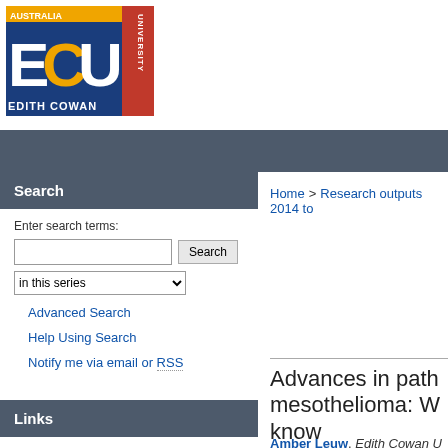[Figure (logo): Edith Cowan University (ECU) Australia logo — blue and gold block letters ECU with EDITH COWAN UNIVERSITY text and red side banner]
Home > Research outputs 2014 to
Search
Enter search terms:
in this series
Advanced Search
Help Using Search
Notify me via email or RSS
Links
Advances in path mesothelioma: W know
Amber Leuw, Edith Cowan U